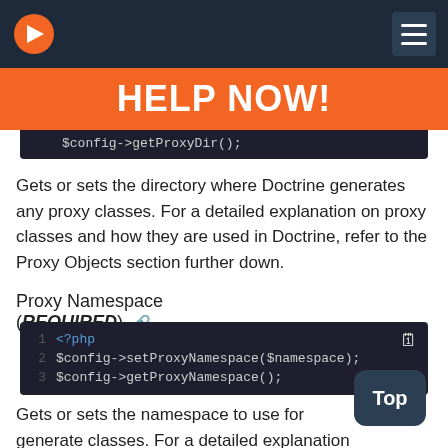HELP NOW! [navigation bar with logo and menu]
HELP NOW!
[Figure (screenshot): Partial code block showing $config->getProxyDir(); in dark theme]
Gets or sets the directory where Doctrine generates any proxy classes. For a detailed explanation on proxy classes and how they are used in Doctrine, refer to the Proxy Objects section further down.
Proxy Namespace (REQUIRED)
[Figure (screenshot): Code block showing: 1 <?php  2 $config->setProxyNamespace($namespace);  3 $config->getProxyNamespace();]
Gets or sets the namespace to use for generated proxy classes. For a detailed explanation on proxy classes and how they are used in Doctrine, refer to the Proxy